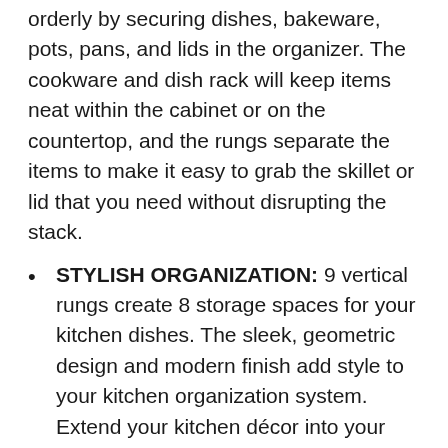orderly by securing dishes, bakeware, pots, pans, and lids in the organizer. The cookware and dish rack will keep items neat within the cabinet or on the countertop, and the rungs separate the items to make it easy to grab the skillet or lid that you need without disrupting the stack.
STYLISH ORGANIZATION: 9 vertical rungs create 8 storage spaces for your kitchen dishes. The sleek, geometric design and modern finish add style to your kitchen organization system. Extend your kitchen décor into your cabinets, or display your decorative dishware on countertops for a unique touch.
VERTICAL STORAGE: Save space in cabinets by utilizing vertical storage space. Stand the organizer up on the short end, and stack pots, pans, lids, muffin tins, cake pans, cookie sheets, and more. Make it easy to grab what you need to make dinner or whip up a batch of cookies with ease in no time. No blurb shown.